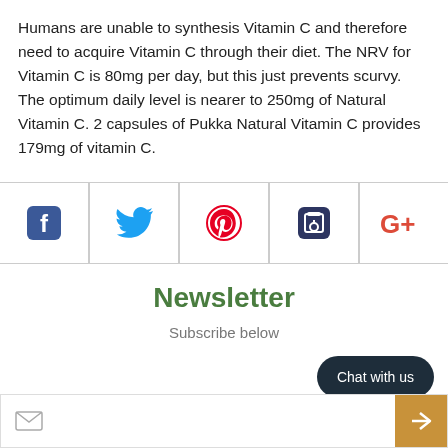Humans are unable to synthesis Vitamin C and therefore need to acquire Vitamin C through their diet. The NRV for Vitamin C is 80mg per day, but this just prevents scurvy. The optimum daily level is nearer to 250mg of Natural Vitamin C. 2 capsules of Pukka Natural Vitamin C provides 179mg of vitamin C.
[Figure (infographic): Social sharing bar with icons: Facebook (blue), Twitter (blue bird), Pinterest (red), Clipboard/Save (dark blue), Google+ (red)]
Newsletter
Subscribe below
[Figure (other): Chat with us button (dark rounded pill)]
[Figure (other): Email input bar with envelope icon and orange arrow submit button]